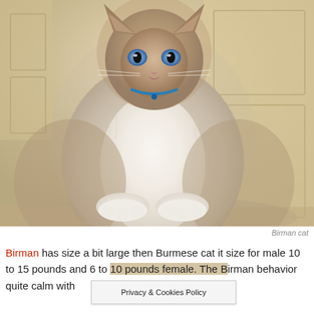[Figure (photo): A fluffy Birman cat with blue eyes, cream and brown coloring, sitting upright facing the camera. The cat has a white chest and paws, with darker brown/tan fur on the back and head. It is wearing a small blue collar. Background shows a wood door and yellowish walls.]
Birman cat
Birman has size a bit large then Burmese cat it size for male 10 to 15 pounds and 6 to 10 pounds female. The Birman behavior quite calm with ... at and less